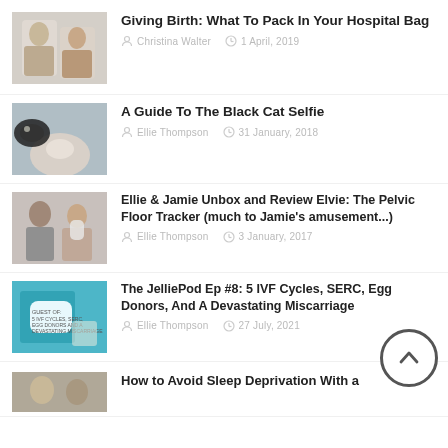[Figure (photo): Two women sitting together, photo thumbnail for hospital bag article]
Giving Birth: What To Pack In Your Hospital Bag
Christina Walter   1 April, 2019
[Figure (photo): Person lying down with a black cat, selfie photo thumbnail]
A Guide To The Black Cat Selfie
Ellie Thompson   31 January, 2018
[Figure (photo): Man and woman holding small device, Elvie tracker article thumbnail]
Ellie & Jamie Unbox and Review Elvie: The Pelvic Floor Tracker (much to Jamie's amusement...)
Ellie Thompson   3 January, 2017
[Figure (photo): JelliePod podcast graphic with speech bubble text about IVF cycles]
The JelliePod Ep #8: 5 IVF Cycles, SERC, Egg Donors, And A Devastating Miscarriage
Ellie Thompson   27 July, 2021
[Figure (photo): Partial thumbnail for sleep deprivation article]
How to Avoid Sleep Deprivation With a